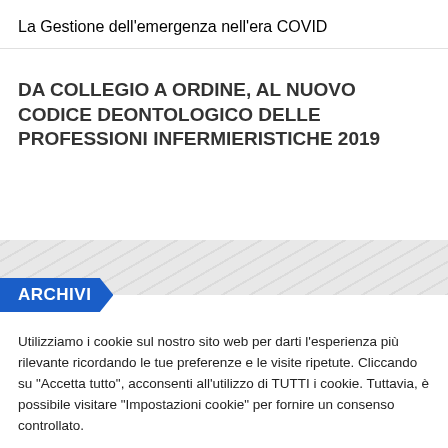La Gestione dell'emergenza nell'era COVID
DA COLLEGIO A ORDINE, AL NUOVO CODICE DEONTOLOGICO DELLE PROFESSIONI INFERMIERISTICHE 2019
[Figure (illustration): Decorative banner with diagonal line pattern]
ARCHIVI
Utilizziamo i cookie sul nostro sito web per darti l'esperienza più rilevante ricordando le tue preferenze e le visite ripetute. Cliccando su "Accetta tutto", acconsenti all'utilizzo di TUTTI i cookie. Tuttavia, è possibile visitare "Impostazioni cookie" per fornire un consenso controllato.
Impostazioni Cookie | Accetta tutto